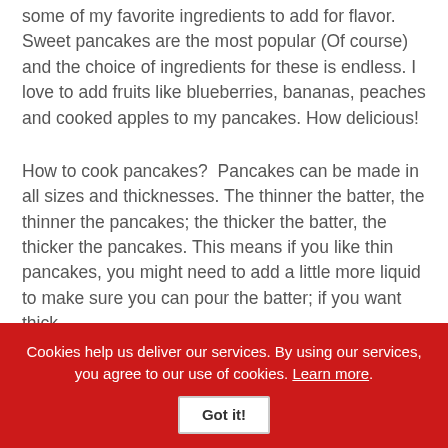some of my favorite ingredients to add for flavor. Sweet pancakes are the most popular (Of course) and the choice of ingredients for these is endless. I love to add fruits like blueberries, bananas, peaches and cooked apples to my pancakes. How delicious!
How to cook pancakes?  Pancakes can be made in all sizes and thicknesses. The thinner the batter, the thinner the pancakes; the thicker the batter, the thicker the pancakes. This means if you like thin pancakes, you might need to add a little more liquid to make sure you can pour the batter; if you want thick
Cookies help us deliver our services. By using our services, you agree to our use of cookies. Learn more. Got it!